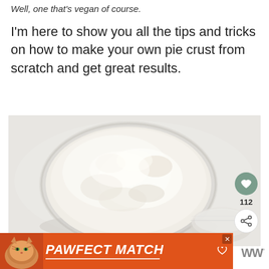Well, one that's vegan of course.
I'm here to show you all the tips and tricks on how to make your own pie crust from scratch and get great results.
[Figure (photo): Overhead view of a glass bowl filled with flour (white/cream colored powder) on a light gray surface, with a glass jar lid visible to the right. Social sharing buttons on the right side: a green heart button, '112' count, and a share button.]
[Figure (screenshot): Advertisement banner: orange/red background with a cartoon cat image and bold italic white text reading 'PAWFECT MATCH' with an underline. A close (X) button in top right. A small heart icon at bottom. WW logo to the right.]